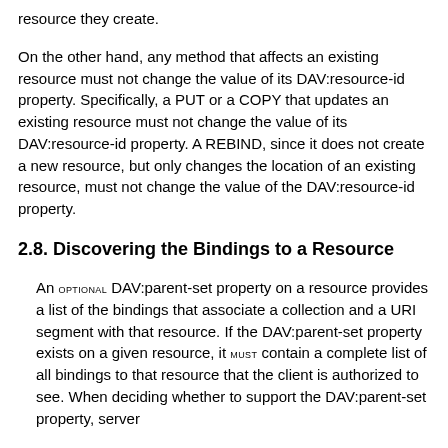resource they create.
On the other hand, any method that affects an existing resource must not change the value of its DAV:resource-id property. Specifically, a PUT or a COPY that updates an existing resource must not change the value of its DAV:resource-id property. A REBIND, since it does not create a new resource, but only changes the location of an existing resource, must not change the value of the DAV:resource-id property.
2.8. Discovering the Bindings to a Resource
An OPTIONAL DAV:parent-set property on a resource provides a list of the bindings that associate a collection and a URI segment with that resource. If the DAV:parent-set property exists on a given resource, it MUST contain a complete list of all bindings to that resource that the client is authorized to see. When deciding whether to support the DAV:parent-set property, server...